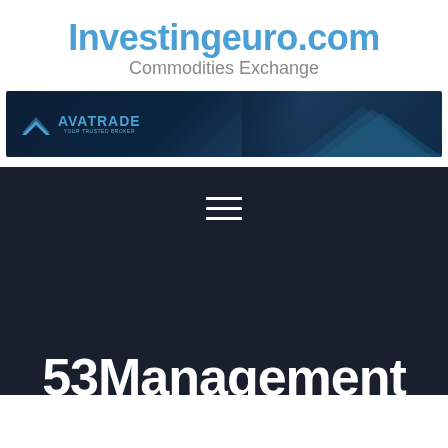Investingeuro.com
Commodities Exchange
[Figure (logo): AvaTrade banner advertisement with dark blue background and chevron logo graphic]
[Figure (infographic): Hamburger menu icon (three horizontal white lines) on dark background]
53Management